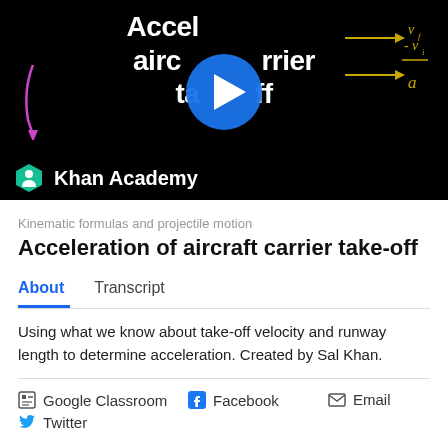[Figure (screenshot): Khan Academy video thumbnail for 'Acceleration of aircraft carrier take-off' showing title text on black background with play button, math annotations in gold, and Khan Academy logo branding bar]
Kinematic formulas and projectile motion
Acceleration of aircraft carrier take-off
About	Transcript
Using what we know about take-off velocity and runway length to determine acceleration. Created by Sal Khan.
Google Classroom   Facebook   Email
Twitter